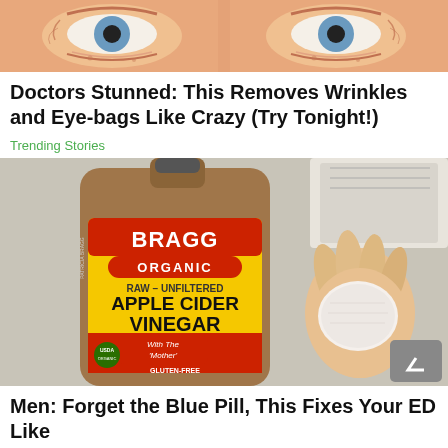[Figure (photo): Close-up of illustrated cartoon eyes with wrinkles and eye-bags on a peach/orange background]
Doctors Stunned: This Removes Wrinkles and Eye-bags Like Crazy (Try Tonight!)
Trending Stories
[Figure (photo): Bragg Organic Raw Unfiltered Apple Cider Vinegar bottle with hand holding a cotton pad against a grey surface background]
Men: Forget the Blue Pill, This Fixes Your ED Like